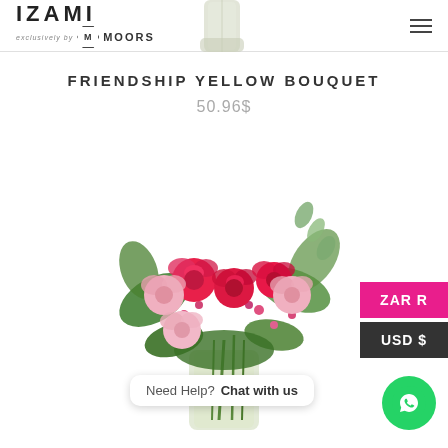IZAMI exclusively by MOORS
[Figure (photo): Partial view of a glass vase with flowers at the top of the page]
FRIENDSHIP YELLOW BOUQUET
50.96$
[Figure (photo): A colorful flower bouquet with pink and red roses, greenery, in a glass vase]
ZAR R
USD $
Need Help? Chat with us